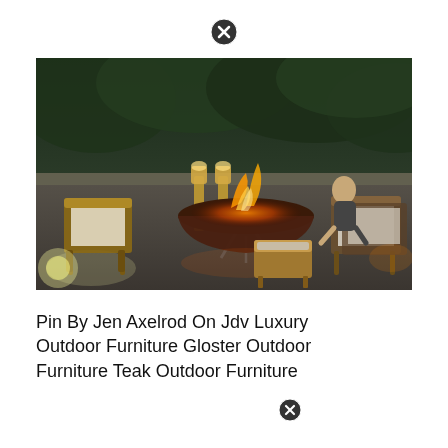[Figure (photo): Close button / dismiss icon at top center of page]
[Figure (photo): Outdoor patio scene at dusk with wicker lounge chairs arranged around a large suspended bowl fire pit with open flames. Two lantern-style torches stand in the background. A person sits on one of the chairs. Dense trees visible in background behind a concrete wall. Atmospheric warm lighting.]
Pin By Jen Axelrod On Jdv Luxury Outdoor Furniture Gloster Outdoor Furniture Teak Outdoor Furniture
[Figure (photo): Close button / dismiss icon near bottom of caption text]